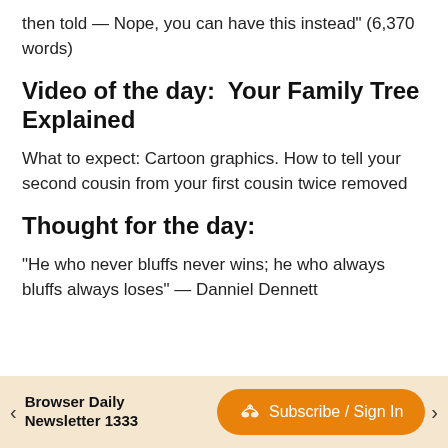then told — Nope, you can have this instead" (6,370 words)
Video of the day:  Your Family Tree Explained
What to expect: Cartoon graphics. How to tell your second cousin from your first cousin twice removed
Thought for the day:
"He who never bluffs never wins; he who always bluffs always loses" — Danniel Dennett
< Browser Daily Newsletter 1333   Subscribe / Sign In >